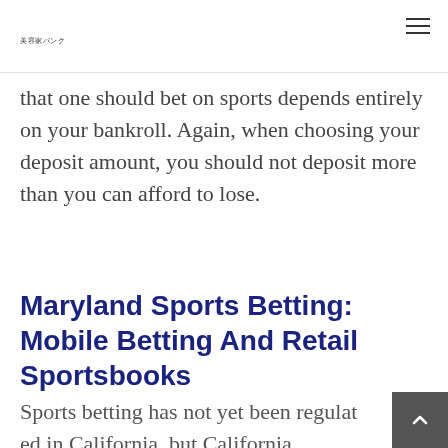美容家バンク
that one should bet on sports depends entirely on your bankroll. Again, when choosing your deposit amount, you should not deposit more than you can afford to lose.
Maryland Sports Betting: Mobile Betting And Retail Sportsbooks
Sports betting has not yet been regulated in California, but California lawmakers